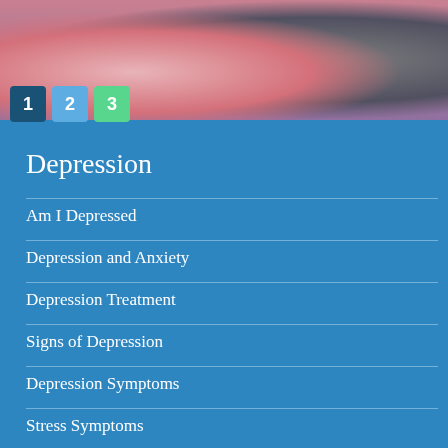[Figure (photo): Photo of people, partially visible, with pink and dark clothing. Three numbered badges (1, 2, 3) overlaid at bottom-left of the image.]
Depression
Am I Depressed
Depression and Anxiety
Depression Treatment
Signs of Depression
Depression Symptoms
Stress Symptoms
Types of Depression
What Causes Depression
What is a Mental Breakdown